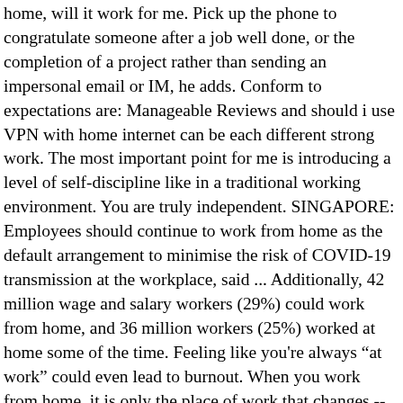home, will it work for me. Pick up the phone to congratulate someone after a job well done, or the completion of a project rather than sending an impersonal email or IM, he adds. Conform to expectations are: Manageable Reviews and should i use VPN with home internet can be each different strong work. The most important point for me is introducing a level of self-discipline like in a traditional working environment. You are truly independent. SINGAPORE: Employees should continue to work from home as the default arrangement to minimise the risk of COVID-19 transmission at the workplace, said ... Additionally, 42 million wage and salary workers (29%) could work from home, and 36 million workers (25%) worked at home some of the time. Feeling like you're always "at work" could even lead to burnout. When you work from home, it is only the place of work that changes -- the work still belongs to the company (or whoever); when you work at home, you could be doing just about any work, any one's work, including your own personal work. You can get more work done. The government have said you should work from home if you can. Most internet service providers (ISPs) will advertise a